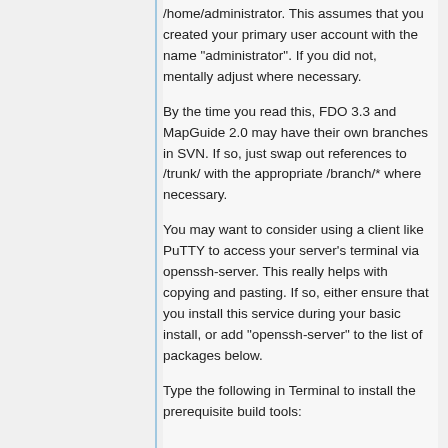/home/administrator. This assumes that you created your primary user account with the name "administrator". If you did not, mentally adjust where necessary.
By the time you read this, FDO 3.3 and MapGuide 2.0 may have their own branches in SVN. If so, just swap out references to /trunk/ with the appropriate /branch/* where necessary.
You may want to consider using a client like PuTTY to access your server's terminal via openssh-server. This really helps with copying and pasting. If so, either ensure that you install this service during your basic install, or add "openssh-server" to the list of packages below.
Type the following in Terminal to install the prerequisite build tools: